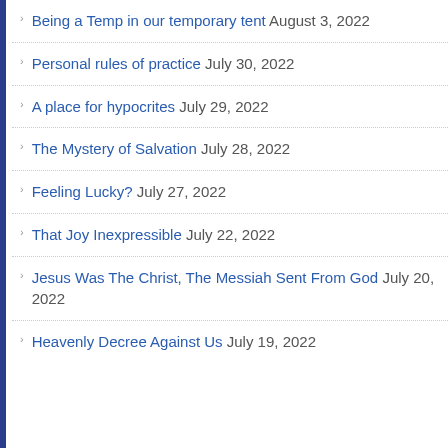Being a Temp in our temporary tent August 3, 2022
Personal rules of practice July 30, 2022
A place for hypocrites July 29, 2022
The Mystery of Salvation July 28, 2022
Feeling Lucky? July 27, 2022
That Joy Inexpressible July 22, 2022
Jesus Was The Christ, The Messiah Sent From God July 20, 2022
Heavenly Decree Against Us July 19, 2022